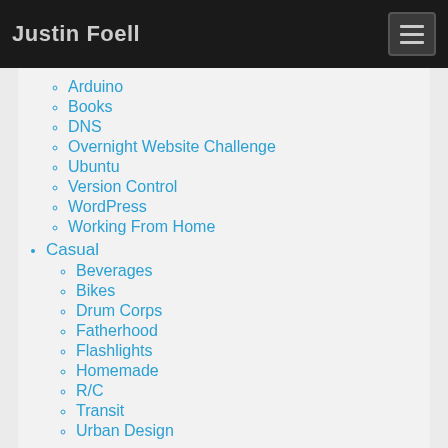Justin Foell
Arduino
Books
DNS
Overnight Website Challenge
Ubuntu
Version Control
WordPress
Working From Home
Casual
Beverages
Bikes
Drum Corps
Fatherhood
Flashlights
Homemade
R/C
Transit
Urban Design